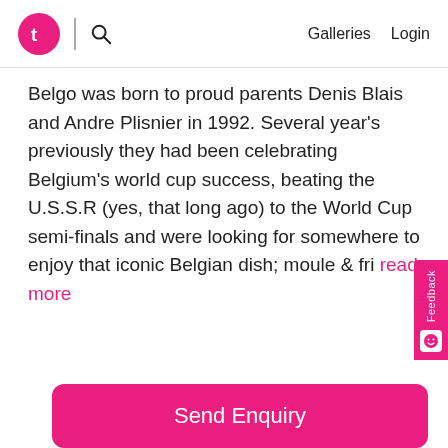Galleries  Login
Belgo was born to proud parents Denis Blais and Andre Plisnier in 1992. Several year's previously they had been celebrating Belgium's world cup success, beating the U.S.S.R (yes, that long ago) to the World Cup semi-finals and were looking for somewhere to enjoy that iconic Belgian dish; moule & fri read more
Details
VENUE TYPE
Ba